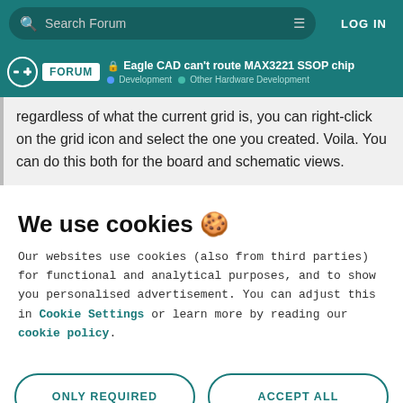Search Forum  LOG IN
Eagle CAD can't route MAX3221 SSOP chip | Development | Other Hardware Development
regardless of what the current grid is, you can right-click on the grid icon and select the one you created. Voila. You can do this both for the board and schematic views.
We use cookies 🍪
Our websites use cookies (also from third parties) for functional and analytical purposes, and to show you personalised advertisement. You can adjust this in Cookie Settings or learn more by reading our cookie policy.
ONLY REQUIRED
ACCEPT ALL